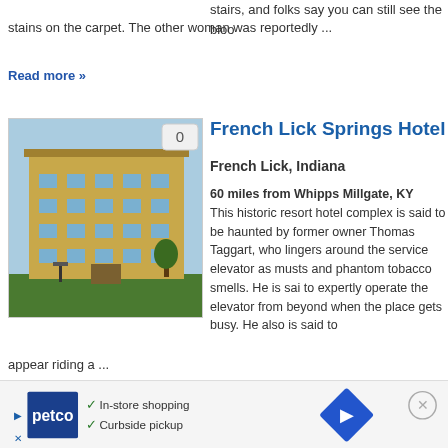murdered here. She was slashed on the stairs, and folks say you can still see the blood stains on the carpet. The other woman was reportedly ...
Read more »
[Figure (photo): Exterior photo of French Lick Springs Hotel, a large multi-story historic building with badge showing 0 comments]
French Lick Springs Hotel
French Lick, Indiana
60 miles from Whipps Millgate, KY
This historic resort hotel complex is said to be haunted by former owner Thomas Taggart, who lingers around the service elevator as musts and phantom tobacco smells. He is said to expertly operate the elevator from beyond when the place gets busy. He also is said to appear riding a ...
Read more »
[Figure (photo): Partial image of John Morgan Hunt House listing with badge showing 0 comments]
John Morgan Hunt House
[Figure (infographic): Advertisement banner for Petco featuring In-store shopping and Curbside pickup options with navigation icon]